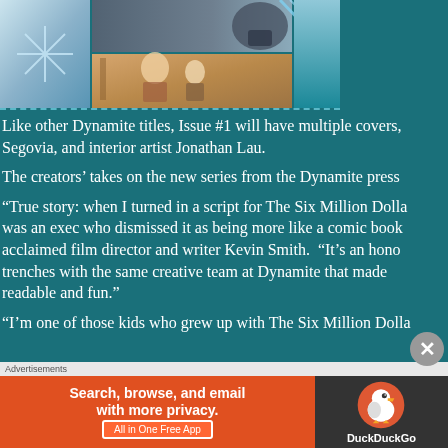[Figure (photo): Comic book cover images - left panel shows snowflake/ice crystals on blue background, top right shows helmeted figure with mechanical/tech elements, bottom right shows illustrated characters including a woman and child]
Like other Dynamite titles, Issue #1 will have multiple covers, Segovia, and interior artist Jonathan Lau.
The creators' takes on the new series from the Dynamite press
“True story: when I turned in a script for The Six Million Dolla was an exec who dismissed it as being more like a comic book acclaimed film director and writer Kevin Smith. “It’s an hono trenches with the same creative team at Dynamite that made readable and fun.”
“I’m one of those kids who grew up with The Six Million Dolla
[Figure (screenshot): DuckDuckGo advertisement banner: orange left section with text 'Search, browse, and email with more privacy. All in One Free App', dark right section with DuckDuckGo duck logo and brand name]